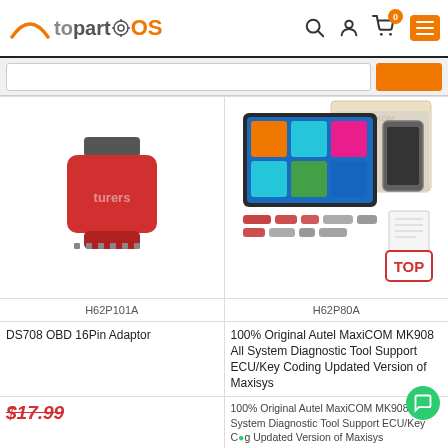topartOS — navigation header with logo, search, cart (0), and menu icons
[Figure (screenshot): Red OBD 16-pin adapter dongle — compact rectangular red plastic connector with dark top plug]
[Figure (screenshot): Autel MaxiCOM MK908 diagnostic tablet set with tablet showing colorful UI, phone, cable accessories, carrying case box behind, and a TOP badge]
H62P101A
H62P80A
DS708 OBD 16Pin Adaptor
100% Original Autel MaxiCOM MK908 All System Diagnostic Tool Support ECU/Key Coding Updated Version of Maxisys
$17.99
100% Original Autel MaxiCOM MK908 All System Diagnostic Tool Support ECU/Key Coding Updated Version of Maxisys